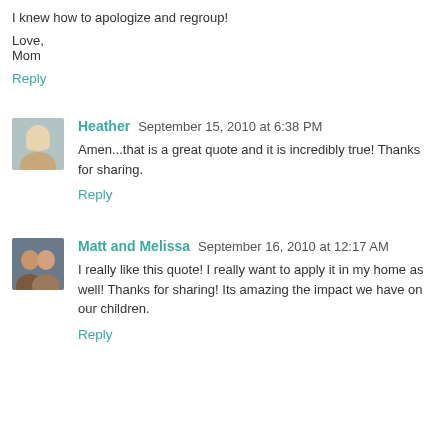I knew how to apologize and regroup!
Love,
Mom
Reply
Heather  September 15, 2010 at 6:38 PM
Amen...that is a great quote and it is incredibly true! Thanks for sharing.
Reply
Matt and Melissa  September 16, 2010 at 12:17 AM
I really like this quote! I really want to apply it in my home as well! Thanks for sharing! Its amazing the impact we have on our children.
Reply